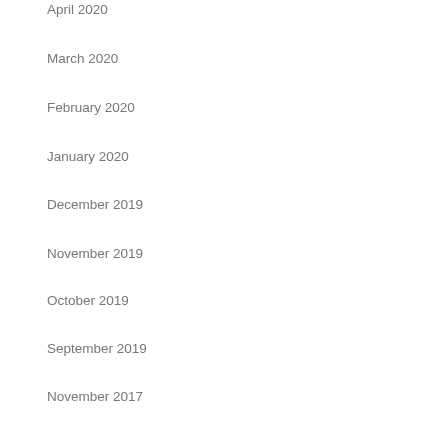April 2020
March 2020
February 2020
January 2020
December 2019
November 2019
October 2019
September 2019
November 2017
Categories
email marketing
entrepreneur
freelancing
goals